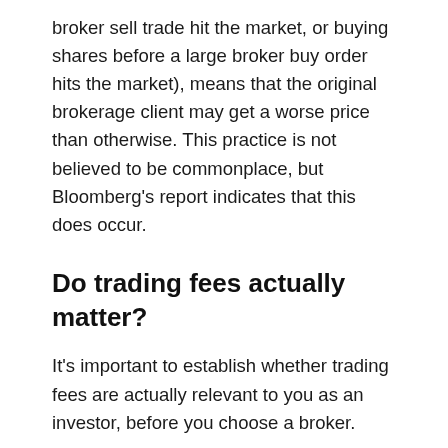broker sell trade hit the market, or buying shares before a large broker buy order hits the market), means that the original brokerage client may get a worse price than otherwise. This practice is not believed to be commonplace, but Bloomberg's report indicates that this does occur.
Do trading fees actually matter?
It's important to establish whether trading fees are actually relevant to you as an investor, before you choose a broker.
If you are investing a single lump sum, then you will only place a single trade. This minimises the impact of trading fees upon your investment returns.